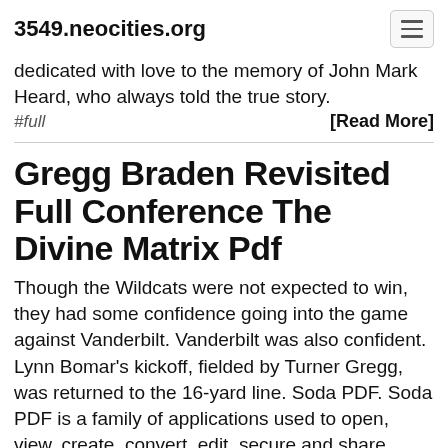3549.neocities.org
dedicated with love to the memory of John Mark Heard, who always told the true story.
#full   [Read More]
Gregg Braden Revisited Full Conference The Divine Matrix Pdf
Though the Wildcats were not expected to win, they had some confidence going into the game against Vanderbilt. Vanderbilt was also confident. Lynn Bomar's kickoff, fielded by Turner Gregg, was returned to the 16-yard line. Soda PDF. Soda PDF is a family of applications used to open, view, create, convert, edit, secure and share Portable